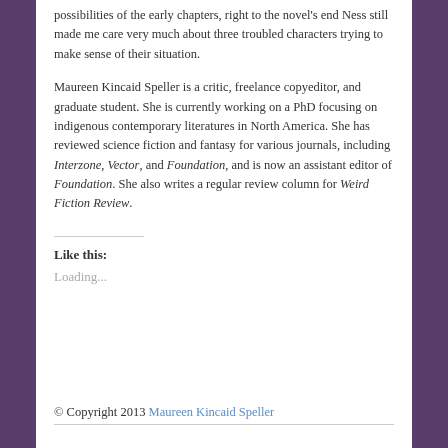possibilities of the early chapters, right to the novel's end Ness still made me care very much about three troubled characters trying to make sense of their situation.
Maureen Kincaid Speller is a critic, freelance copyeditor, and graduate student. She is currently working on a PhD focusing on indigenous contemporary literatures in North America. She has reviewed science fiction and fantasy for various journals, including Interzone, Vector, and Foundation, and is now an assistant editor of Foundation. She also writes a regular review column for Weird Fiction Review.
Like this:
Loading...
© Copyright 2013 Maureen Kincaid Speller